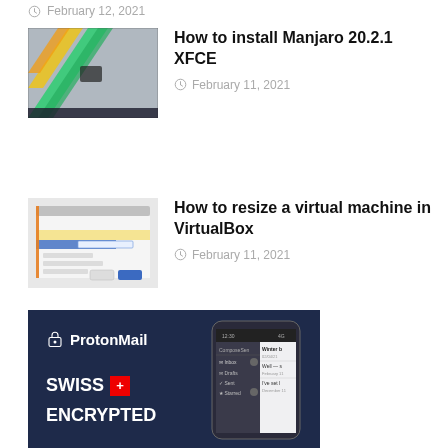February 12, 2021
[Figure (screenshot): Manjaro XFCE desktop screenshot with diagonal colored stripes on grey background]
How to install Manjaro 20.2.1 XFCE
February 11, 2021
[Figure (screenshot): VirtualBox virtual machine resize dialog screenshot]
How to resize a virtual machine in VirtualBox
February 11, 2021
[Figure (screenshot): ProtonMail promotional banner showing logo and phone screenshot with Swiss Encrypted branding]